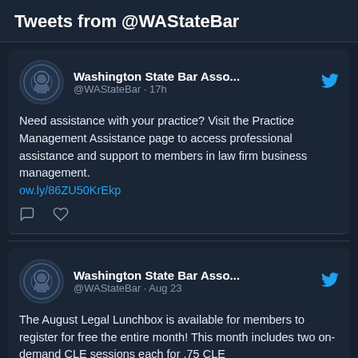Tweets from @WAStateBar
Washington State Bar Asso... @WAStateBar · 17h
Need assistance with your practice? Visit the Practice Management Assistance page to access professional assistance and support to members in law firm business management. ow.ly/86ZU50KrEkp
Washington State Bar Asso... @WAStateBar · Aug 23
The August Legal Lunchbox is available for members to register for free the entire month! This month includes two on-demand CLE sessions each for .75 CLE credits. ow.ly/fsWt50KqJWm